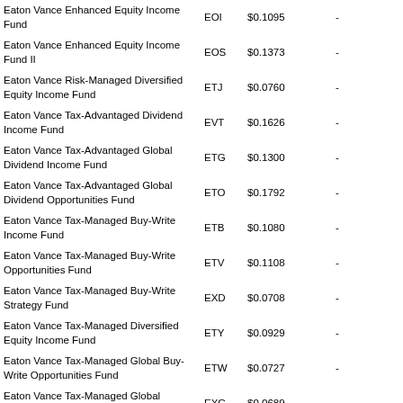| Fund Name | Ticker | Distribution |  | Price |
| --- | --- | --- | --- | --- |
| Eaton Vance Enhanced Equity Income Fund | EOI | $0.1095 | - | $16.31 |
| Eaton Vance Enhanced Equity Income Fund II | EOS | $0.1373 | - | $18.51 |
| Eaton Vance Risk-Managed Diversified Equity Income Fund | ETJ | $0.0760 | - | $9.28 |
| Eaton Vance Tax-Advantaged Dividend Income Fund | EVT | $0.1626 | - | $25.95 |
| Eaton Vance Tax-Advantaged Global Dividend Income Fund | ETG | $0.1300 | - | $18.10 |
| Eaton Vance Tax-Advantaged Global Dividend Opportunities Fund | ETO | $0.1792 | - | $24.59 |
| Eaton Vance Tax-Managed Buy-Write Income Fund | ETB | $0.1080 | - | $15.96 |
| Eaton Vance Tax-Managed Buy-Write Opportunities Fund | ETV | $0.1108 | - | $14.54 |
| Eaton Vance Tax-Managed Buy-Write Strategy Fund | EXD | $0.0708 | - | $10.46 |
| Eaton Vance Tax-Managed Diversified Equity Income Fund | ETY | $0.0929 | - | $12.66 |
| Eaton Vance Tax-Managed Global Buy-Write Opportunities Fund | ETW | $0.0727 | - | $9.25 |
| Eaton Vance Tax-Managed Global Diversified Equity Income Fund | EXG | $0.0689 | - | $8.91 |